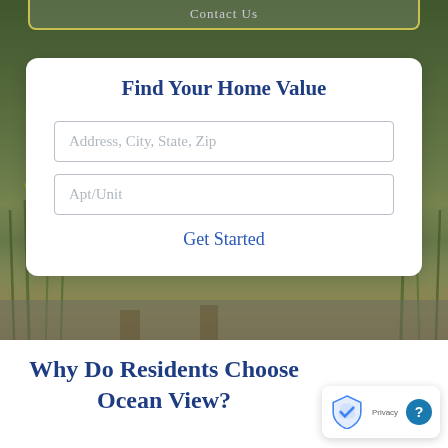Contact Us
Find Your Home Value
Address, City, State, Zip
Apt/Unit
Get Started
Why Do Residents Choose Ocean View?
[Figure (screenshot): Privacy badge with reCAPTCHA logo and question mark circle icon]